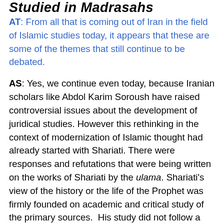Studied in Madrasahs
AT: From all that is coming out of Iran in the field of Islamic studies today, it appears that these are some of the themes that still continue to be debated.
AS: Yes, we continue even today, because Iranian scholars like Abdol Karim Soroush have raised controversial issues about the development of juridical studies. However this rethinking in the context of modernization of Islamic thought had already started with Shariati. There were responses and refutations that were being written on the works of Shariati by the ulama. Shariati's view of the history or the life of the Prophet was firmly founded on academic and critical study of the primary sources. His study did not follow a traditional view of the Prophet as an infallible leader — as a perfect leader, who guided the community under the divine